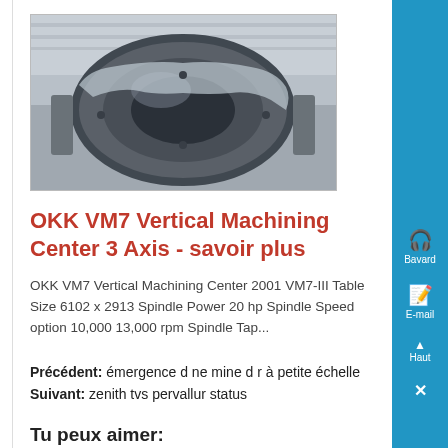[Figure (photo): Photo of OKK VM7 Vertical Machining Center - large industrial machine with circular opening, viewed from above in a factory setting]
OKK VM7 Vertical Machining Center 3 Axis - savoir plus
OKK VM7 Vertical Machining Center 2001 VM7-III Table Size 6102 x 2913 Spindle Power 20 hp Spindle Speed option 10,000 13,000 rpm Spindle Tap...
Précédent: émergence d ne mine d r à petite échelle
Suivant: zenith tvs pervallur status
Tu peux aimer: